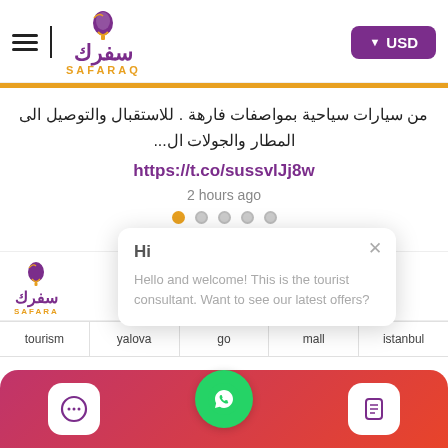Safaraq travel website header with logo, hamburger menu, and USD currency button
من سيارات سياحية بمواصفات فارهة . للاستقبال والتوصيل الى المطار والجولات ال...
https://t.co/sussvlJj8w
2 hours ago
[Figure (other): Carousel navigation dots, first dot active (orange), four inactive gray dots]
[Figure (other): Chat popup overlay with Hi heading and welcome message: Hello and welcome! This is the tourist consultant. Want to see our latest offers?]
POPULAR TAGS
tourism | yalova | go | mall | istanbul
[Figure (other): Bottom navigation bar with chat icon, WhatsApp floating button, and notes icon on a red-pink gradient background]